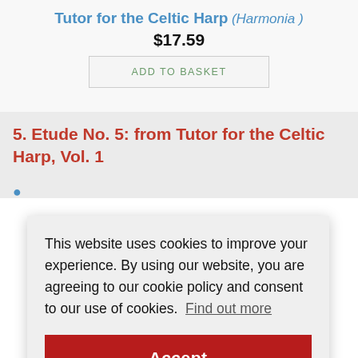Tutor for the Celtic Harp (Harmonia)
$17.59
ADD TO BASKET
5. Etude No. 5: from Tutor for the Celtic Harp, Vol. 1
This website uses cookies to improve your experience. By using our website, you are agreeing to our cookie policy and consent to our use of cookies.  Find out more
Accept